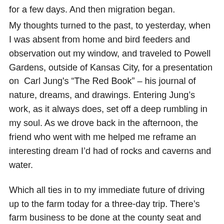for a few days. And then migration began.
My thoughts turned to the past, to yesterday, when I was absent from home and bird feeders and observation out my window, and traveled to Powell Gardens, outside of Kansas City, for a presentation on  Carl Jung's “The Red Book” – his journal of nature, dreams, and drawings. Entering Jung’s work, as it always does, set off a deep rumbling in my soul. As we drove back in the afternoon, the friend who went with me helped me reframe an interesting dream I’d had of rocks and caverns and water.
Which all ties in to my immediate future of driving up to the farm today for a three-day trip. There’s farm business to be done at the county seat and the camper to shut down for the winter. The blood-ripe milo fields will stretch to the horizon as I drive through September’s ripe sunshine.